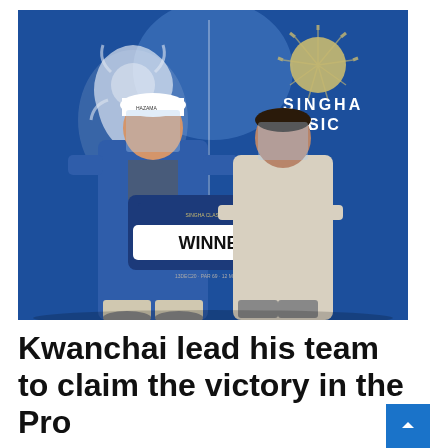[Figure (photo): Two people wearing face shields holding a 'WINNER' sign board at a Singha Classic golf tournament. The person on the left wears a blue polo shirt and white cap. The background shows a blue banner with a white lion logo and the Singha Classic branding with a sun/sunburst logo.]
Kwanchai lead his team to claim the victory in the Pro